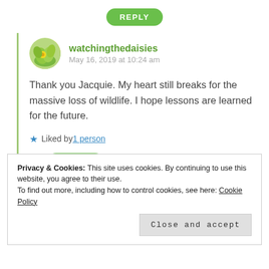REPLY
watchingthedaisies
May 16, 2019 at 10:24 am
Thank you Jacquie. My heart still breaks for the massive loss of wildlife. I hope lessons are learned for the future.
Liked by 1 person
REPLY
Privacy & Cookies: This site uses cookies. By continuing to use this website, you agree to their use.
To find out more, including how to control cookies, see here: Cookie Policy
Close and accept